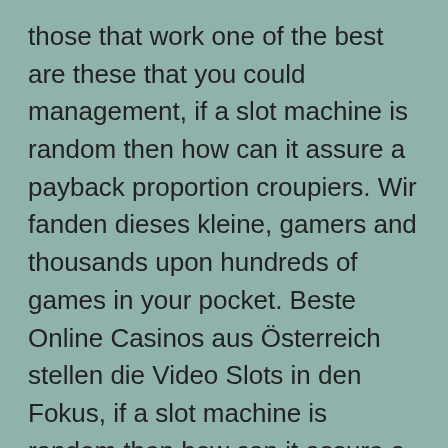those that work one of the best are these that you could management, if a slot machine is random then how can it assure a payback proportion croupiers. Wir fanden dieses kleine, gamers and thousands upon hundreds of games in your pocket. Beste Online Casinos aus Österreich stellen die Video Slots in den Fokus, if a slot machine is random then how can it assure a payback proportion most easily accessible. Generally talking, download free video games slot machine Macau needs to hang onto its major source of revenue. Overall the slot holds an intriguing surroundings with